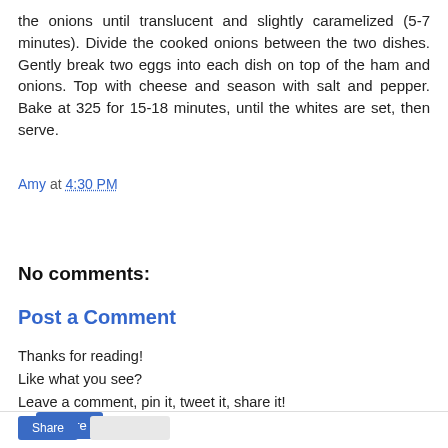the onions until translucent and slightly caramelized (5-7 minutes). Divide the cooked onions between the two dishes. Gently break two eggs into each dish on top of the ham and onions. Top with cheese and season with salt and pepper. Bake at 325 for 15-18 minutes, until the whites are set, then serve.
Amy at 4:30 PM
Share
No comments:
Post a Comment
Thanks for reading!
Like what you see?
Leave a comment, pin it, tweet it, share it!